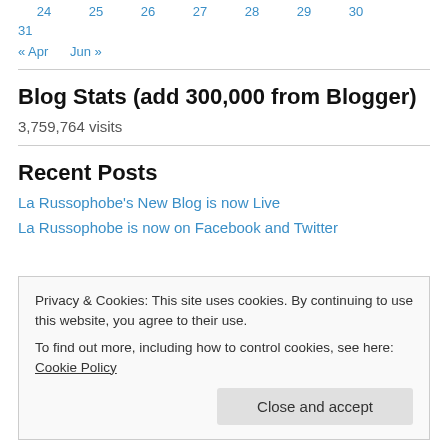24  25  26  27  28  29  30
31
« Apr  Jun »
Blog Stats (add 300,000 from Blogger)
3,759,764 visits
Recent Posts
La Russophobe's New Blog is now Live
La Russophobe is now on Facebook and Twitter
Privacy & Cookies: This site uses cookies. By continuing to use this website, you agree to their use.
To find out more, including how to control cookies, see here: Cookie Policy
Close and accept